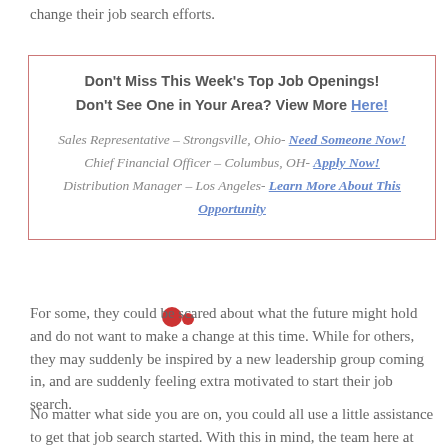change their job search efforts.
Don't Miss This Week's Top Job Openings!
Don't See One in Your Area? View More Here!
Sales Representative – Strongsville, Ohio- Need Someone Now!
Chief Financial Officer – Columbus, OH- Apply Now!
Distribution Manager – Los Angeles- Learn More About This Opportunity
For some, they could be scared about what the future might hold and do not want to make a change at this time. While for others, they may suddenly be inspired by a new leadership group coming in, and are suddenly feeling extra motivated to start their job search.
No matter what side you are on, you could all use a little assistance to get that job search started. With this in mind, the team here at NexGoal decided to put together a list of